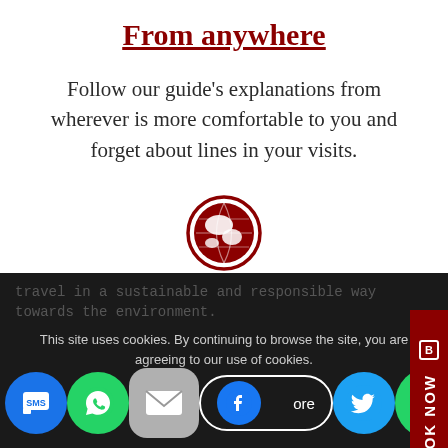From anywhere
Follow our guide's explanations from wherever is more comfortable to you and forget about lines in your visits.
[Figure (illustration): Red globe/earth icon]
Take care of the planet
Apart from avoiding weather issues, you'll travel in a sustainable and responsible way towards the environment.
This site uses cookies. By continuing to browse the site, you are agreeing to our use of cookies.
[Figure (infographic): Row of social media sharing buttons: SMS, WhatsApp, Email, Learn more, Facebook, Twitter, WhatsApp, Crown]